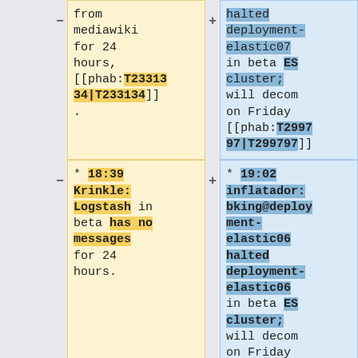from mediawiki for 24 hours, [[phab:T233134|T233134]].
halted deployment-elastic07 in beta ES cluster; will decom on Friday [[phab:T299797|T299797]]
* 18:39 Krinkle: Logstash in beta has no messages for 24 hours.
* 19:02 inflatador: bking@deployment-elastic06 halted deployment-elastic06 in beta ES cluster; will decom on Friday